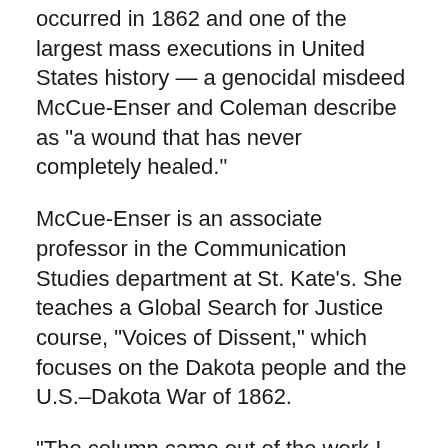occurred in 1862 and one of the largest mass executions in United States history — a genocidal misdeed McCue-Enser and Coleman describe as "a wound that has never completely healed."
McCue-Enser is an associate professor in the Communication Studies department at St. Kate's. She teaches a Global Search for Justice course, "Voices of Dissent," which focuses on the Dakota people and the U.S.–Dakota War of 1862.
"The column came out of the work I had already done as part of teaching this class," McCue-Enser said. "I feel that what Nick and I said in the column reflects the idea of seeing an issue from multiple perspectives, thinking very intentionally about justice, and holding institutions